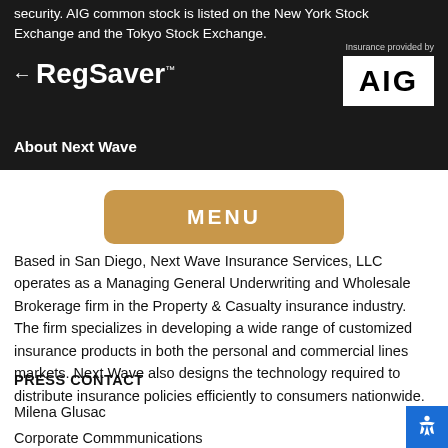security. AIG common stock is listed on the New York Stock Exchange and the Tokyo Stock Exchange.
[Figure (logo): RegSaver logo with left arrow]
[Figure (logo): AIG logo in white box with 'Insurance provided by' text above]
About Next Wave
Based in San Diego, Next Wave Insurance Services, LLC operates as a Managing General Underwriting and Wholesale Brokerage firm in the Property & Casualty insurance industry. The firm specializes in developing a wide range of customized insurance products in both the personal and commercial lines markets. Next Wave also designs the technology required to distribute insurance policies efficiently to consumers nationwide.
PRESS CONTACT
Milena Glusac
Corporate Commmunications